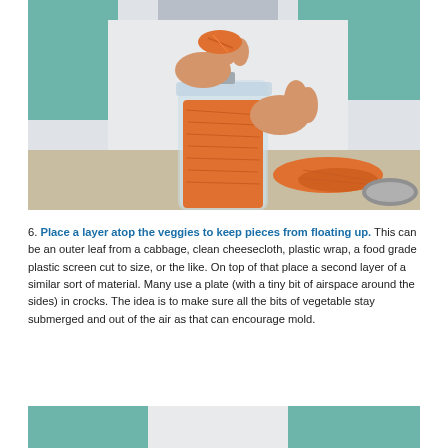[Figure (photo): A person wearing a white apron and teal long-sleeve shirt packing shredded vegetables (kimchi/sauerkraut mixture) into a glass jar with a hinged lid. Some of the shredded vegetable mixture is spilling onto the cutting board surface. A metal container lid is visible in the bottom right corner.]
6. Place a layer atop the veggies to keep pieces from floating up. This can be an outer leaf from a cabbage, clean cheesecloth, plastic wrap, a food grade plastic screen cut to size, or the like. On top of that place a second layer of a similar sort of material. Many use a plate (with a tiny bit of airspace around the sides) in crocks. The idea is to make sure all the bits of vegetable stay submerged and out of the air as that can encourage mold.
[Figure (photo): Bottom portion of a person wearing a teal long-sleeve shirt and white apron, cropped at the waist, visible at the bottom of the page.]